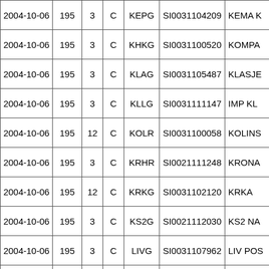| Date |  |  |  | Ticker | ISIN | Name |
| --- | --- | --- | --- | --- | --- | --- |
| 2004-10-06 | 195 | 3 | C | KEPG | SI0031104209 | KEMA K... |
| 2004-10-06 | 195 | 3 | C | KHKG | SI0031100520 | KOMPA... |
| 2004-10-06 | 195 | 3 | C | KLAG | SI0031105487 | KLASJE... |
| 2004-10-06 | 195 | 3 | C | KLLG | SI0031111147 | IMP KL... |
| 2004-10-06 | 195 | 12 | C | KOLR | SI0031100058 | KOLINS... |
| 2004-10-06 | 195 | 3 | C | KRHR | SI0021111248 | KRONA... |
| 2004-10-06 | 195 | 12 | C | KRKG | SI0031102120 | KRKA |
| 2004-10-06 | 195 | 3 | C | KS2G | SI0021112030 | KS2 NA... |
| 2004-10-06 | 195 | 3 | C | LIVG | SI0031107962 | LIV POS... |
| 2004-10-06 | 195 | 3 | C | LIZG | SI0031103714 | LIZ IN?... |